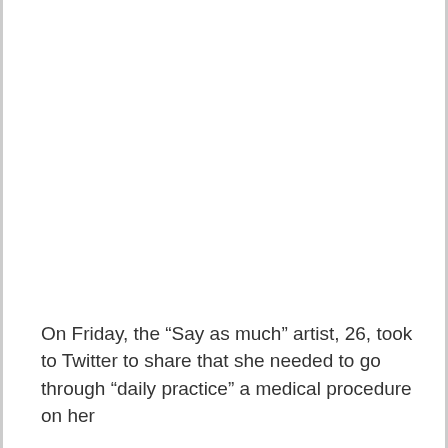On Friday, the “Say as much” artist, 26, took to Twitter to share that she needed to go through “daily practice” a medical procedure on her